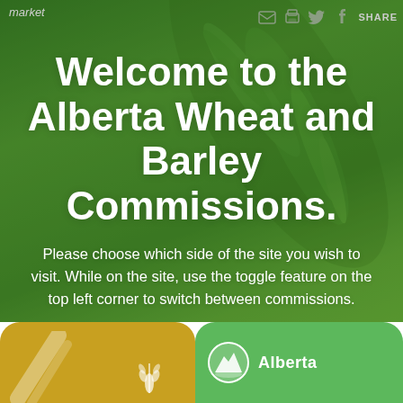market
Welcome to the Alberta Wheat and Barley Commissions.
Please choose which side of the site you wish to visit. While on the site, use the toggle feature on the top left corner to switch between commissions.
[Figure (logo): Yellow rounded card (Alberta Wheat Commission) with wheat icon and diagonal slash graphic on the left; Green rounded card (Alberta Barley Commission) with mountain/circle logo and 'Alberta' text on the right]
Alberta